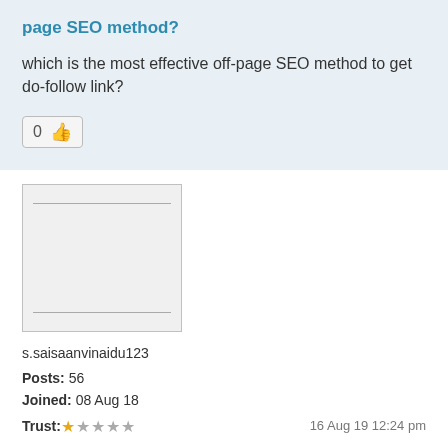page SEO method?
which is the most effective off-page SEO method to get do-follow link?
[Figure (other): Vote count box showing 0 with a thumbs up icon]
[Figure (other): User avatar placeholder image box]
s.saisaanvinaidu123
Posts: 56
Joined: 08 Aug 18
Trust: 1 star out of 5
16 Aug 19 12:24 pm
Various effective SEO methods are there and they are
1.Guest Posting
2. Forum Submission